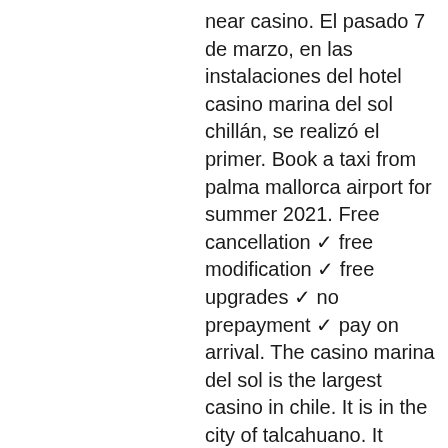near casino. El pasado 7 de marzo, en las instalaciones del hotel casino marina del sol chillán, se realizó el primer. Book a taxi from palma mallorca airport for summer 2021. Free cancellation ✓ free modification ✓ free upgrades ✓ no prepayment ✓ pay on arrival. The casino marina del sol is the largest casino in chile. It is in the city of talcahuano. It opened in 2005 under a chilean law allowing casinos. Transfer taxi from san sebastian airport to san sebastian with free cancellation ✓ free modification ✓ free upgrades ✓ pay on arrival ✓ special deals. Malaga airport transfers car interior. Book a transfer from malaga airport without any pre-payment to locations throughout the costa del sol, including. Coordinador de proyectos en taxis casino marina del sol. Taxis casino marina del sol. Estación central, región metropolitana de santiago,. Casino de juegos, marina del sol cuenta con la mejor